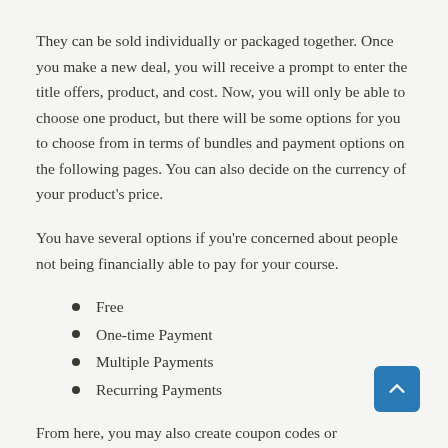They can be sold individually or packaged together. Once you make a new deal, you will receive a prompt to enter the title offers, product, and cost. Now, you will only be able to choose one product, but there will be some options for you to choose from in terms of bundles and payment options on the following pages. You can also decide on the currency of your product's price.
You have several options if you're concerned about people not being financially able to pay for your course.
Free
One-time Payment
Multiple Payments
Recurring Payments
From here, you may also create coupon codes or